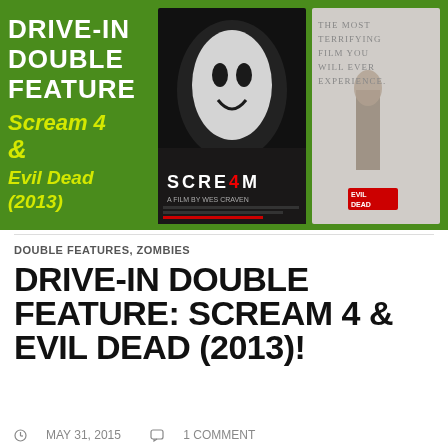[Figure (illustration): Drive-In Double Feature promotional banner with green background. Left side shows text: DRIVE-IN DOUBLE FEATURE in white bold, and Scream 4 & Evil Dead (2013) in yellow-green italic. Right side shows two movie posters: Scream 4 (Ghostface mask with cast) and Evil Dead 2013 (girl standing with tagline 'The most terrifying film you will ever experience').]
DOUBLE FEATURES, ZOMBIES
DRIVE-IN DOUBLE FEATURE: SCREAM 4 & EVIL DEAD (2013)!
MAY 31, 2015   1 COMMENT